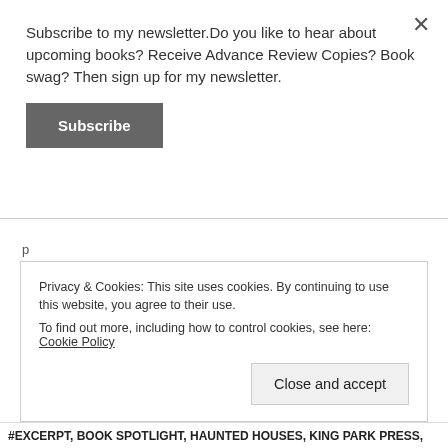Subscribe to my newsletter.Do you like to hear about upcoming books? Receive Advance Review Copies? Book swag? Then sign up for my newsletter.
Subscribe
p
And love, of course. Why do people fall in love? What keeps them together for a lifetime when so many relationships fail?
Privacy & Cookies: This site uses cookies. By continuing to use this website, you agree to their use.
To find out more, including how to control cookies, see here: Cookie Policy
Close and accept
#EXCERPT, BOOK SPOTLIGHT, HAUNTED HOUSES, KING PARK PRESS,